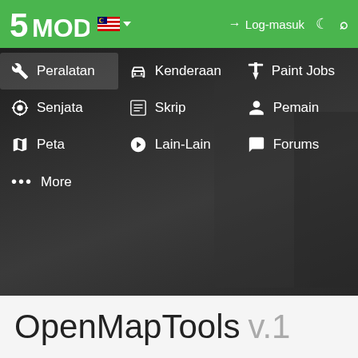5MODS - Log-masuk
[Figure (screenshot): Navigation dropdown menu from 5mods website showing menu items: Peralatan, Kenderaan, Paint Jobs, Senjata, Skrip, Pemain, Peta, Lain-Lain, Forums, More]
OpenMapTools v.1